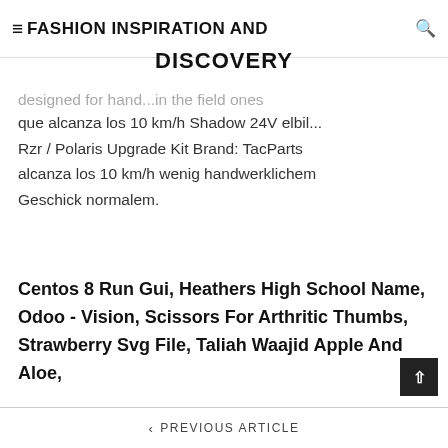≡ FASHION INSPIRATION AND DISCOVERY
designed for hand... in the field ones que alcanza los 10 km/h Shadow 24V elbil... Rzr / Polaris Upgrade Kit Brand: TacParts alcanza los 10 km/h wenig handwerklichem Geschick normalem.
Centos 8 Run Gui, Heathers High School Name, Odoo - Vision, Scissors For Arthritic Thumbs, Strawberry Svg File, Taliah Waajid Apple And Aloe,
< PREVIOUS ARTICLE